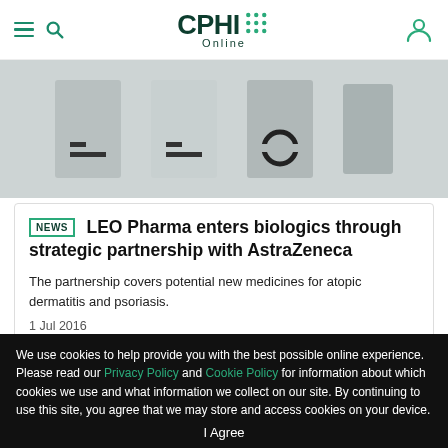CPHI Online
[Figure (photo): Partial logos/images of pharma company logos visible as a horizontal banner strip]
LEO Pharma enters biologics through strategic partnership with AstraZeneca
The partnership covers potential new medicines for atopic dermatitis and psoriasis.
1 Jul 2016
We use cookies to help provide you with the best possible online experience. Please read our Privacy Policy and Cookie Policy for information about which cookies we use and what information we collect on our site. By continuing to use this site, you agree that we may store and access cookies on your device.
I Agree